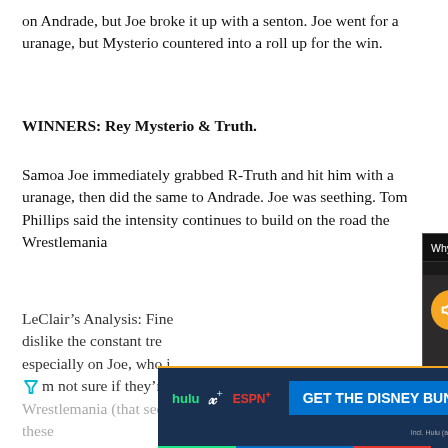on Andrade, but Joe broke it up with a senton. Joe went for a uranage, but Mysterio countered into a roll up for the win.
WINNERS: Rey Mysterio & Truth.
Samoa Joe immediately grabbed R-Truth and hit him with a uranage, then did the same to Andrade. Joe was seething. Tom Phillips said the intensity continues to build on the road the Wrestlemania
LeClair's Analysis: Fine dislike the constant tre especially on Joe, who i 'm not sure if they're he Wrestlemania (that see these excelle
[Figure (screenshot): Video popup overlay: 'Why are pro wrestlers singing on the w...' with PWTORCH branding, showing a man in a black cap, with a mute/unmute button and close button.]
[Figure (screenshot): Advertisement banner: GET THE DISNEY BUNDLE featuring hulu, Disney+, ESPN+ logos. Incl. Hulu (ad-supported) or Hulu (No Ads). Access content from each service separately. ©2021 Disney and its related entities.]